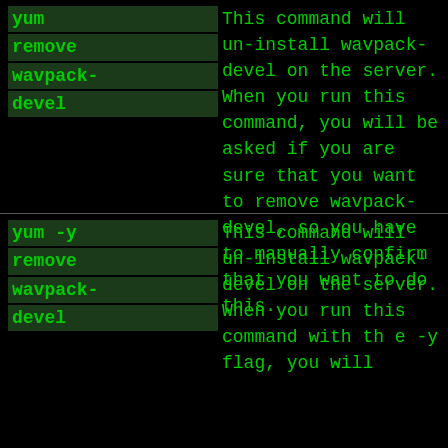| Command | Description |
| --- | --- |
| yum remove wavpack-devel | This command will un-install wavpack-devel on the server. When you run this command, you will be asked if you are sure that you want to remove wavpack-devel, so you have to manually confirm that you want to do this. |
| yum -y remove wavpack-devel | This command will un-install wavpack-devel on the server. When you run this command with th e -y flag, you will |